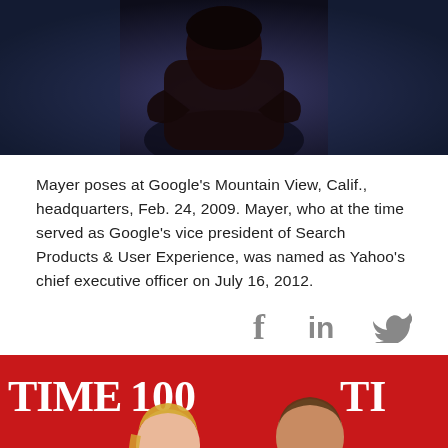[Figure (photo): Silhouette of a person with arms crossed against a dark blue background]
Mayer poses at Google's Mountain View, Calif., headquarters, Feb. 24, 2009. Mayer, who at the time served as Google's vice president of Search Products & User Experience, was named as Yahoo's chief executive officer on July 16, 2012.
[Figure (photo): Two people (a blonde woman and a man in a tuxedo) posing in front of a TIME 100 red background at what appears to be a gala event]